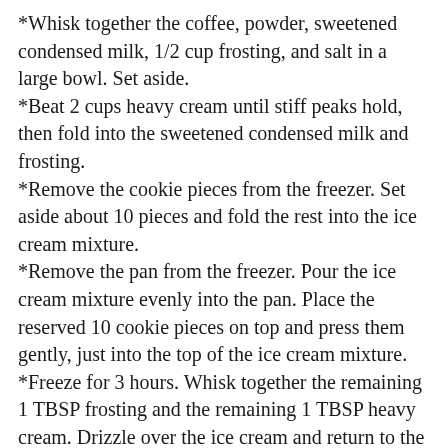*Whisk together the coffee, powder, sweetened condensed milk, 1/2 cup frosting, and salt in a large bowl. Set aside.
*Beat 2 cups heavy cream until stiff peaks hold, then fold into the sweetened condensed milk and frosting.
*Remove the cookie pieces from the freezer. Set aside about 10 pieces and fold the rest into the ice cream mixture.
*Remove the pan from the freezer. Pour the ice cream mixture evenly into the pan. Place the reserved 10 cookie pieces on top and press them gently, just into the top of the ice cream mixture.
*Freeze for 3 hours. Whisk together the remaining 1 TBSP frosting and the remaining 1 TBSP heavy cream. Drizzle over the ice cream and return to the freezer for at least another 3 hours (I like to leave it overnight).
*Once fully set, cover with the long ends of the plastic wrap.
*To serve, scoop the ice cream out of the pan, or remove using the long pieces of plastic wrap and slice. Store in the